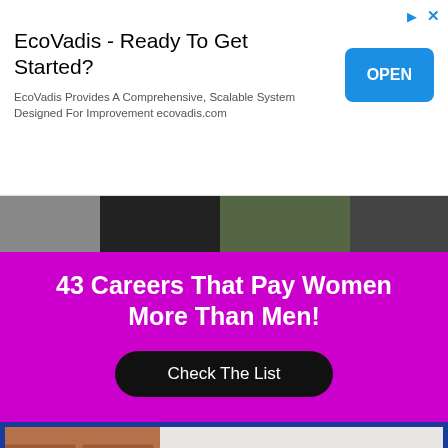[Figure (screenshot): EcoVadis advertisement banner with title, subtitle, and OPEN button]
[Figure (infographic): Purple promotional banner: '43 Careers That Pay Women More Than Men!' with a 'Check The List' black button and a photo strip at top showing two people standing]
[Figure (photo): Photo of a stressed young man with glasses holding his head in his hands, sitting in front of a laptop, with a brick wall background, inside a blue border frame]